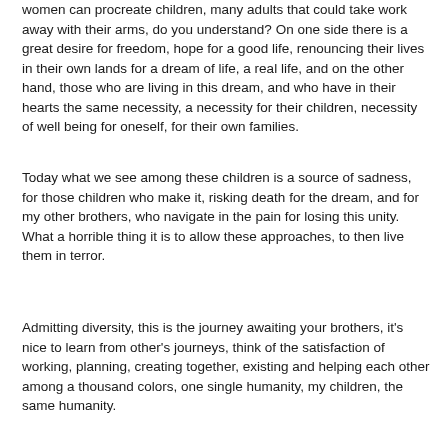women can procreate children, many adults that could take work away with their arms, do you understand? On one side there is a great desire for freedom, hope for a good life, renouncing their lives in their own lands for a dream of life, a real life, and on the other hand, those who are living in this dream, and who have in their hearts the same necessity, a necessity for their children, necessity of well being for oneself, for their own families.
Today what we see among these children is a source of sadness, for those children who make it, risking death for the dream, and for my other brothers, who navigate in the pain for losing this unity. What a horrible thing it is to allow these approaches, to then live them in terror.
Admitting diversity, this is the journey awaiting your brothers, it's nice to learn from other's journeys, think of the satisfaction of working, planning, creating together, existing and helping each other among a thousand colors, one single humanity, my children, the same humanity.